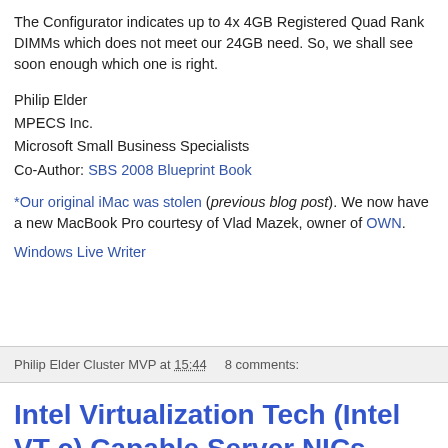The Configurator indicates up to 4x 4GB Registered Quad Rank DIMMs which does not meet our 24GB need. So, we shall see soon enough which one is right.
Philip Elder
MPECS Inc.
Microsoft Small Business Specialists
Co-Author: SBS 2008 Blueprint Book
*Our original iMac was stolen (previous blog post). We now have a new MacBook Pro courtesy of Vlad Mazek, owner of OWN.
Windows Live Writer
Philip Elder Cluster MVP at 15:44    8 comments:
Intel Virtualization Tech (Intel VT-c) Capable Server NICs